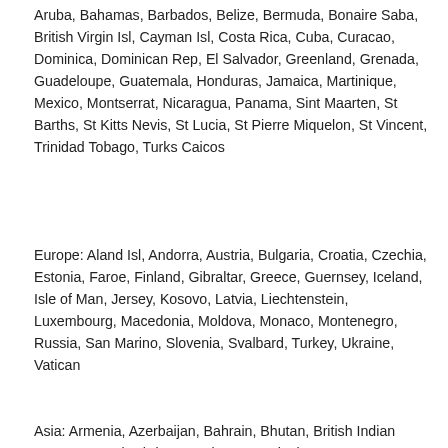Aruba, Bahamas, Barbados, Belize, Bermuda, Bonaire Saba, British Virgin Isl, Cayman Isl, Costa Rica, Cuba, Curacao, Dominica, Dominican Rep, El Salvador, Greenland, Grenada, Guadeloupe, Guatemala, Honduras, Jamaica, Martinique, Mexico, Montserrat, Nicaragua, Panama, Sint Maarten, St Barths, St Kitts Nevis, St Lucia, St Pierre Miquelon, St Vincent, Trinidad Tobago, Turks Caicos
Europe: Aland Isl, Andorra, Austria, Bulgaria, Croatia, Czechia, Estonia, Faroe, Finland, Gibraltar, Greece, Guernsey, Iceland, Isle of Man, Jersey, Kosovo, Latvia, Liechtenstein, Luxembourg, Macedonia, Moldova, Monaco, Montenegro, Russia, San Marino, Slovenia, Svalbard, Turkey, Ukraine, Vatican
Asia: Armenia, Azerbaijan, Bahrain, Bhutan, British Indian Ocean, Brunei, Christmas Isl, Cocos Isl, Timor...